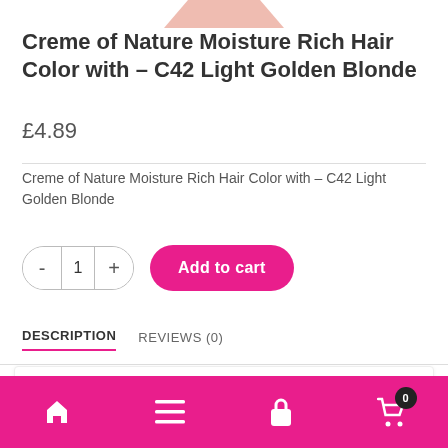[Figure (photo): Partial product image of Creme of Nature hair color box at top of page]
Creme of Nature Moisture Rich Hair Color with – C42 Light Golden Blonde
£4.89
Creme of Nature Moisture Rich Hair Color with – C42 Light Golden Blonde
Add to cart
DESCRIPTION
REVIEWS (0)
SKU: 75724780422Categories: Creme of Nature Hair Color, Hair Color
Home | Menu | Cart | Cart (0)